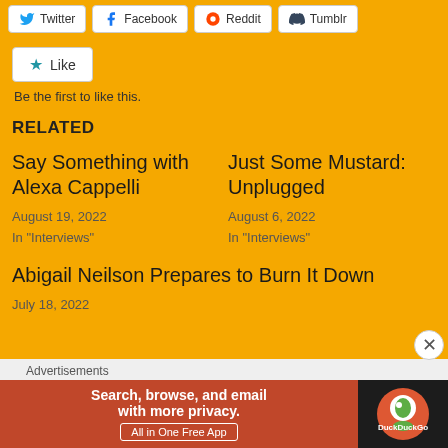[Figure (screenshot): Social share buttons: Twitter, Facebook, Reddit, Tumblr]
[Figure (screenshot): Like button with star icon]
Be the first to like this.
RELATED
Say Something with Alexa Cappelli
August 19, 2022
In "Interviews"
Just Some Mustard: Unplugged
August 6, 2022
In "Interviews"
Abigail Neilson Prepares to Burn It Down
July 18, 2022
Advertisements
[Figure (screenshot): DuckDuckGo advertisement banner: Search, browse, and email with more privacy. All in One Free App]